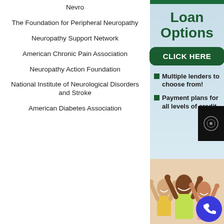Nevro
The Foundation for Peripheral Neuropathy
Neuropathy Support Network
American Chronic Pain Association
Neuropathy Action Foundation
National Institute of Neurological Disorders and Stroke
American Diabetes Association
Loan Options
CLICK HERE
Multiple lenders to choose from!
Payment plans for all levels of credit.
[Figure (photo): Group of diverse smiling people with raised fists, celebrating]